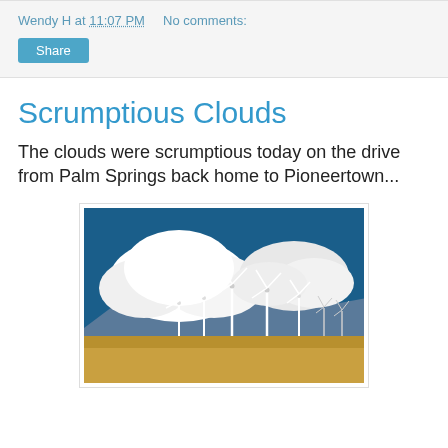Wendy H at 11:07 PM   No comments:
Share
Scrumptious Clouds
The clouds were scrumptious today on the drive from Palm Springs back home to Pioneertown...
[Figure (photo): Photograph of wind turbines in a desert landscape with large dramatic white cumulus clouds against a deep blue sky]